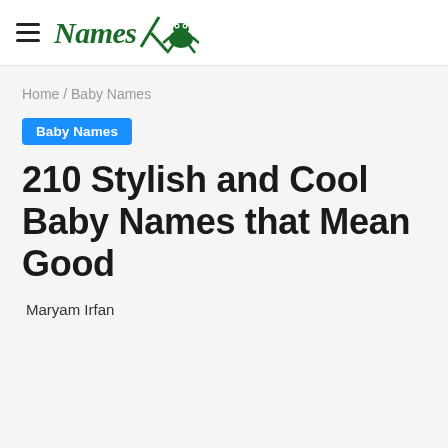Names [logo with frog illustration]
Home / Baby Names
Baby Names
210 Stylish and Cool Baby Names that Mean Good
Maryam Irfan